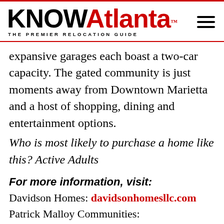KNOWAtlanta™ THE PREMIER RELOCATION GUIDE
expansive garages each boast a two-car capacity. The gated community is just moments away from Downtown Marietta and a host of shopping, dining and entertainment options.
Who is most likely to purchase a home like this? Active Adults
For more information, visit:
Davidson Homes: davidsonhomesllc.com
Patrick Malloy Communities: